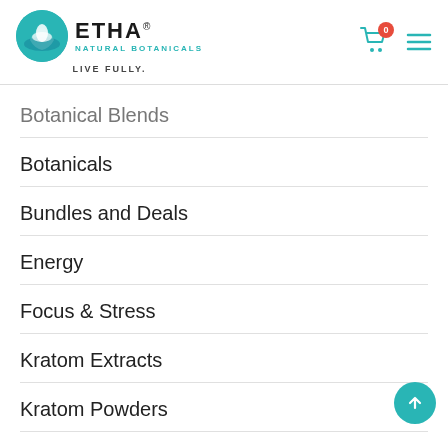[Figure (logo): ETHA Natural Botanicals logo — teal circle with hand/leaf icon, bold ETHA text, 'NATURAL BOTANICALS' subtitle, 'LIVE FULLY.' tagline]
Botanical Blends
Botanicals
Bundles and Deals
Energy
Focus & Stress
Kratom Extracts
Kratom Powders
Kratom Tablets